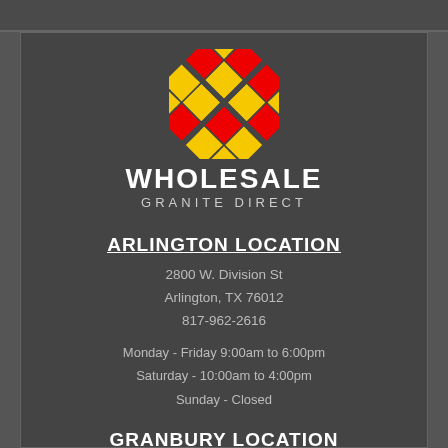[Figure (logo): Wholesale Granite Direct logo: diamond shape made of colored squares (red and yellow), with text WHOLESALE GRANITE DIRECT below]
ARLINGTON LOCATION
2800 W. Division St
Arlington, TX 76012
817-962-2616
Monday - Friday 9:00am to 6:00pm
Saturday - 10:00am to 4:00pm
Sunday - Closed
GRANBURY LOCATION
4329 E US Hwy 377
Granbury, TX 76049